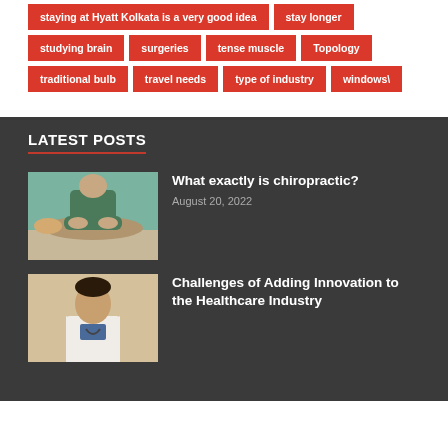staying at Hyatt Kolkata is a very good idea
stay longer
studying brain
surgeries
tense muscle
Topology
traditional bulb
travel needs
type of industry
windows\
LATEST POSTS
[Figure (photo): Chiropractor performing back adjustment on a patient lying face down on a treatment table]
What exactly is chiropractic?
August 20, 2022
[Figure (photo): Male doctor or healthcare professional in white coat standing in a room]
Challenges of Adding Innovation to the Healthcare Industry